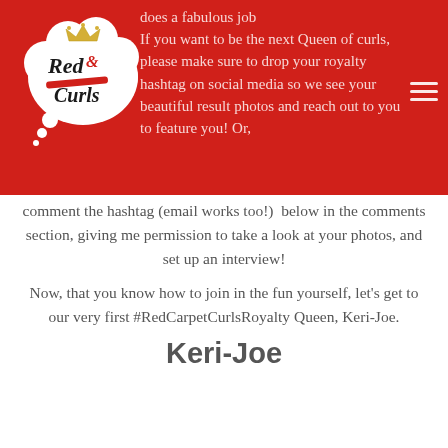[Figure (logo): Red Curls logo inside a thought bubble cloud shape with a crown]
does a fabulous job
If you want to be the next Queen of curls, please make sure to drop your royalty hashtag on social media so we see your beautiful result photos and reach out to you to feature you! Or, comment the hashtag (email works too!)  below in the comments section, giving me permission to take a look at your photos, and set up an interview!
Now, that you know how to join in the fun yourself, let's get to our very first #RedCarpetCurlsRoyalty Queen, Keri-Joe.
Keri-Joe